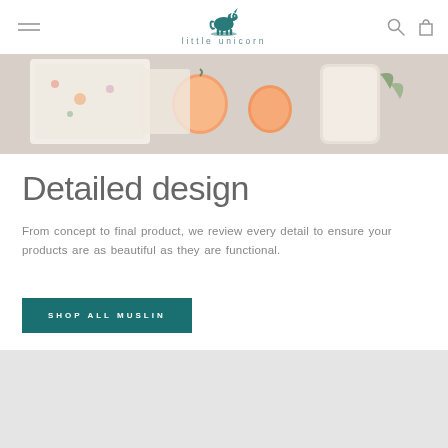little unicorn
[Figure (photo): Flatlay product photo showing muslin fabric with peach/fruit print pattern, with real peaches and green leaves on a light background]
Detailed design
From concept to final product, we review every detail to ensure your products are as beautiful as they are functional.
SHOP ALL MUSLIN